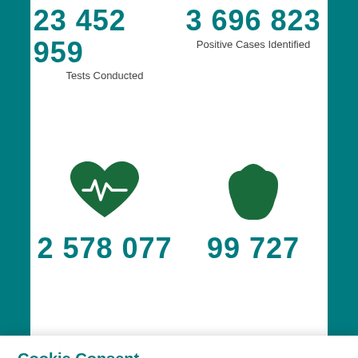23 452 959
Tests Conducted
3 696 823
Positive Cases Identified
[Figure (illustration): Heart with ECG line icon (green)]
[Figure (illustration): Hands clasped/praying icon (green)]
2 578 077
99 727
Cookie Consent
We use cookies on our website to give you the most relevant experience by remembering your preferences and repeat visits. By clicking “Accept All”, you consent to the use of ALL the cookies. However, you may visit “Cookie Settings” to provide a controlled consent. You can read our
Privacy policy here >
Cookie Settings
Accept All